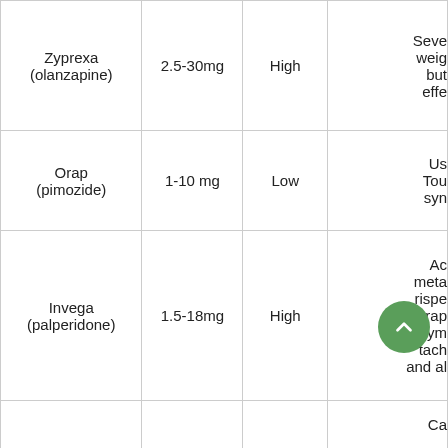| Drug | Dose | Sedation | Notes |
| --- | --- | --- | --- |
| Zyprexa (olanzapine) | 2.5-30mg | High | Severe weight... but effe... |
| Orap (pimozide) | 1-10 mg | Low | Us... Tou... syn... |
| Invega (palperidone) | 1.5-18mg | High | Ac... metal... rispe... extrap... sym... tach... and al... |
|  |  |  | Ca... |